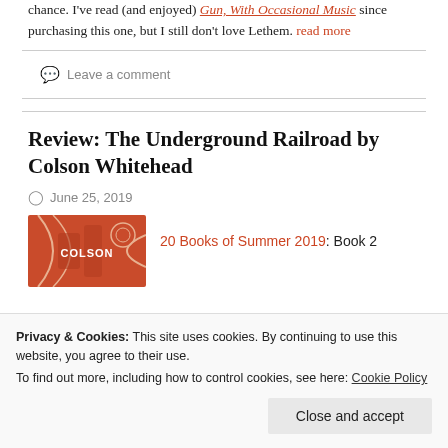chance. I've read (and enjoyed) Gun, With Occasional Music since purchasing this one, but I still don't love Lethem. read more
Leave a comment
Review: The Underground Railroad by Colson Whitehead
June 25, 2019
[Figure (photo): Book cover for 'Colson' - an orange/red cover with abstract line art]
20 Books of Summer 2019: Book 2
Privacy & Cookies: This site uses cookies. By continuing to use this website, you agree to their use. To find out more, including how to control cookies, see here: Cookie Policy
Close and accept
for the Man Booker Prize. I went to